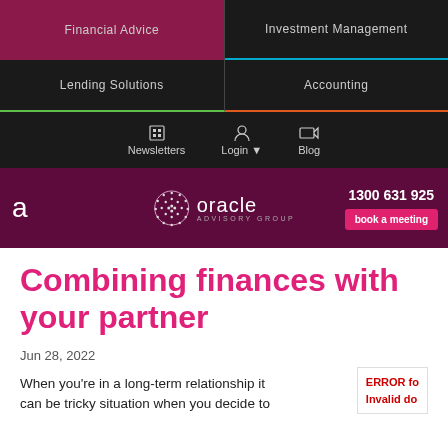Financial Advice | Investment Management | Lending Solutions | Accounting | Newsletters | Login | Blog
[Figure (logo): Oracle Advisory Group logo with circular dot pattern and text, phone number 1300 631 925 and book a meeting button]
Combining finances with your partner
Jun 28, 2022
When you're in a long-term relationship it can be tricky situation when you decide to